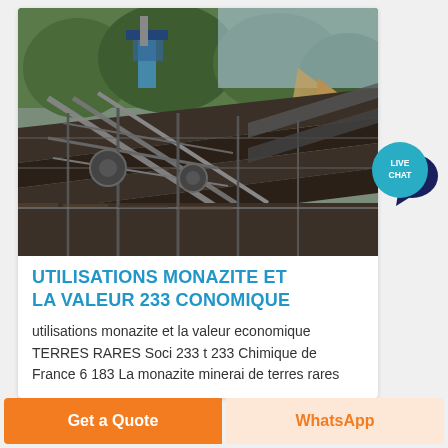[Figure (photo): Aerial view of a large mining facility with conveyor belt structures, metal scaffolding, and surrounding forested hillside with a dirt road. Industrial ore processing plant.]
UTILISATIONS MONAZITE ET LA VALEUR 233 CONOMIQUE
utilisations monazite et la valeur economique TERRES RARES Soci 233 t 233 Chimique de France 6 183 La monazite minerai de terres rares
[Figure (other): Live Chat button icon — teal speech bubble with dark navy overlapping speech bubble, labeled LIVE CHAT in white text on teal circle]
Get a Quote
WhatsApp